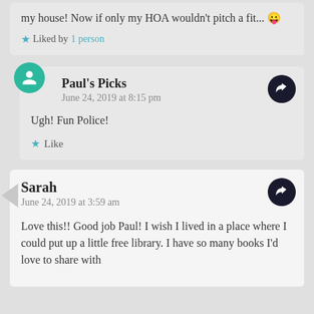my house! Now if only my HOA wouldn't pitch a fit... 😛
★ Liked by 1 person
Paul's Picks
June 24, 2019 at 8:15 pm

Ugh! Fun Police!

★ Like
Sarah
June 24, 2019 at 3:59 am

Love this!! Good job Paul! I wish I lived in a place where I could put up a little free library. I have so many books I'd love to share with